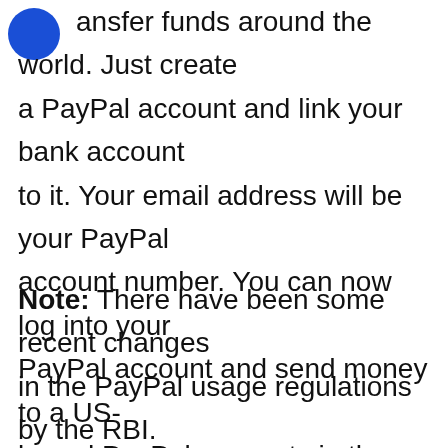ansfer funds around the world. Just create a PayPal account and link your bank account to it. Your email address will be your PayPal account number. You can now log into your PayPal account and send money to a US-based PayPal account via the “Send Money” option. The exchange rates will depend on the day the transfer is made.
Note: There have been some recent changes in the PayPal usage regulations by the RBI. So, check with PayPal customer care before you carry out any transaction.